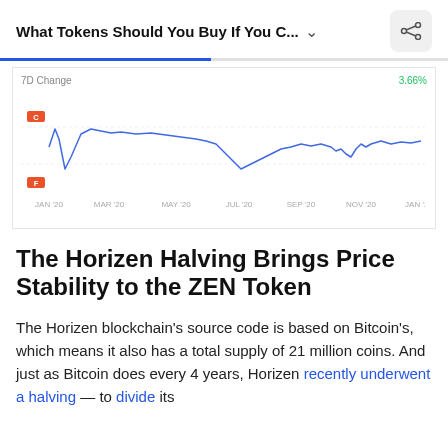What Tokens Should You Buy If You C...
[Figure (line-chart): Line chart showing price from JAN '20 to JAN '21, with 7D Change label and +3.66% annotation. Two red tags labeled C and F on the left side.]
The Horizen Halving Brings Price Stability to the ZEN Token
The Horizen blockchain's source code is based on Bitcoin's, which means it also has a total supply of 21 million coins. And just as Bitcoin does every 4 years, Horizen recently underwent a halving — to divide its block reward in half from 12.5 ZEN to 6.25 ZEN.